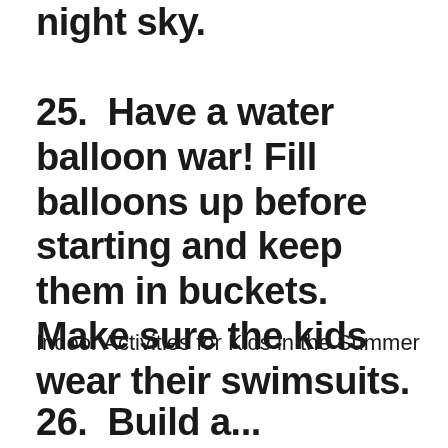night sky.
25.  Have a water balloon war! Fill balloons up before starting and keep them in buckets. Make sure the kids wear their swimsuits.
Indoor Activities for Kids in the Summer
26. Build a...